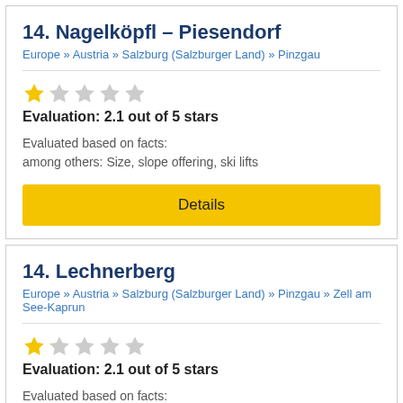14. Nagelköpfl – Piesendorf
Europe » Austria » Salzburg (Salzburger Land) » Pinzgau
Evaluation: 2.1 out of 5 stars
Evaluated based on facts:
among others: Size, slope offering, ski lifts
Details
14. Lechnerberg
Europe » Austria » Salzburg (Salzburger Land) » Pinzgau » Zell am See-Kaprun
Evaluation: 2.1 out of 5 stars
Evaluated based on facts:
among others: Size, slope offering, ski lifts
Details